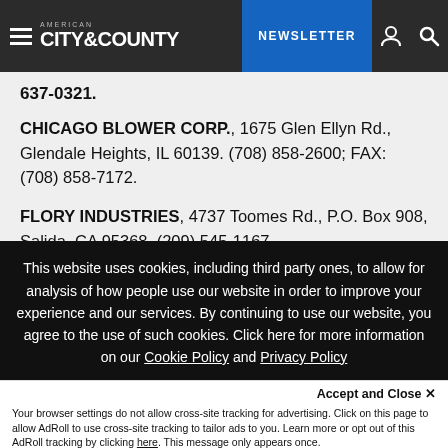American City & County — NEWSLETTER
637-0321.
CHICAGO BLOWER CORP., 1675 Glen Ellyn Rd., Glendale Heights, IL 60139. (708) 858-2600; FAX: (708) 858-7172.
FLORY INDUSTRIES, 4737 Toomes Rd., P.O. Box 908, Salida, CA 95368. (209) 545-1167.
This website uses cookies, including third party ones, to allow for analysis of how people use our website in order to improve your experience and our services. By continuing to use our website, you agree to the use of such cookies. Click here for more information on our Cookie Policy and Privacy Policy
Accept and Close ✕
Your browser settings do not allow cross-site tracking for advertising. Click on this page to allow AdRoll to use cross-site tracking to tailor ads to you. Learn more or opt out of this AdRoll tracking by clicking here. This message only appears once.